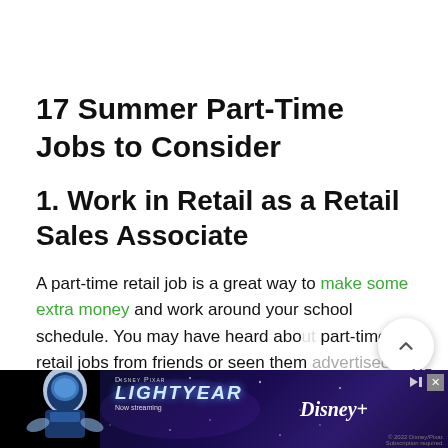17 Summer Part-Time Jobs to Consider
1. Work in Retail as a Retail Sales Associate
A part-time retail job is a great way to make some extra money and work around your school schedule. You may have heard about part-time retail jobs from friends or seen them advertised online as a great part-time or seasonal job.
[Figure (screenshot): Disney Pixar Lightyear movie advertisement banner at the bottom of the page. Shows Buzz Lightyear character with space background, Lightyear logo, Disney+ streaming info, and copyright notice.]